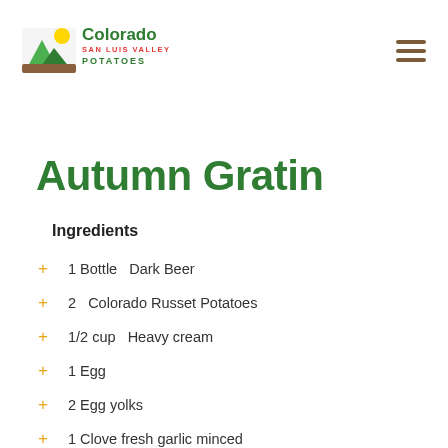[Figure (logo): Colorado San Luis Valley Potatoes logo with mountain and sun graphic]
Autumn Gratin
Ingredients
1 Bottle  Dark Beer
2  Colorado Russet Potatoes
1/2 cup  Heavy cream
1 Egg
2 Egg yolks
1 Clove fresh garlic minced
1/2 cup  Grated parmesan